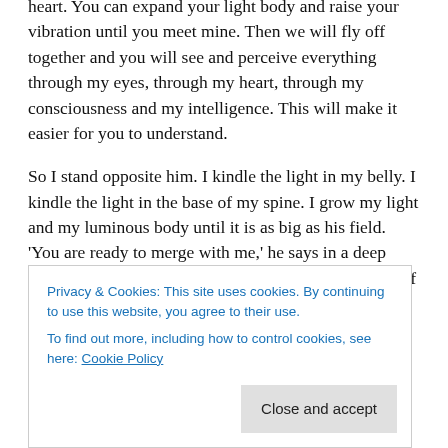heart. You can expand your light body and raise your vibration until you meet mine. Then we will fly off together and you will see and perceive everything through my eyes, through my heart, through my consciousness and my intelligence. This will make it easier for you to understand.
So I stand opposite him. I kindle the light in my belly. I kindle the light in the base of my spine. I grow my light and my luminous body until it is as big as his field. 'You are ready to merge with me,' he says in a deep voice. 'Merge with me now. Get your personality out of the way. Let the little Anna step aside and let the Anna that is the eternal
Privacy & Cookies: This site uses cookies. By continuing to use this website, you agree to their use.
To find out more, including how to control cookies, see here: Cookie Policy
Close and accept
of the star. We enter through the layers of light to the